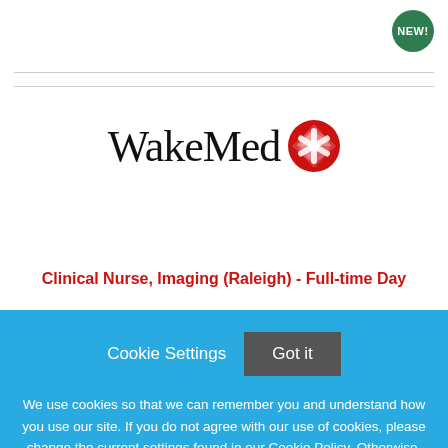[Figure (logo): WakeMed logo with red circular icon and serif text]
Clinical Nurse, Imaging (Raleigh) - Full-time Day
Cookie Settings  Got it
We use cookies so that we can remember you and understand how you use our site. If you do not agree with our use of cookies, please change the current settings found in our Cookie Policy. Otherwise, you agree to the use of the cookies as they are currently set.